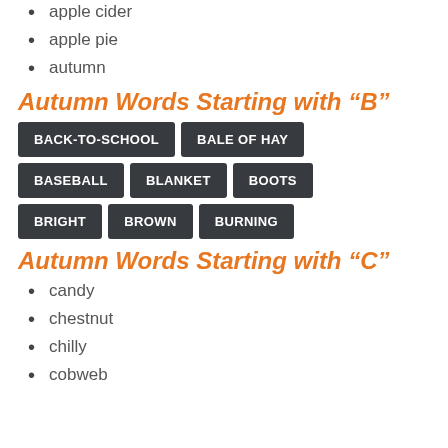apple cider
apple pie
autumn
Autumn Words Starting with “B”
BACK-TO-SCHOOL | BALE OF HAY | BASEBALL | BLANKET | BOOTS | BRIGHT | BROWN | BURNING
Autumn Words Starting with “C”
candy
chestnut
chilly
cobweb